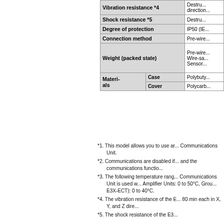|  |  | Value |
| --- | --- | --- |
| Vibration resistance *4 |  | Destru... direction... |
| Shock resistance *5 |  | Destru... |
| Degree of protection |  | IP50 (IE... |
| Connection method |  | Pre-wire... |
| Weight (packed state) |  | Pre-wire... Wire-sa... Sensor... |
| Materials | Case | Polybuty... |
| Materials | Cover | Polycarb... |
*1. This model allows you to use an... Communications Unit.
*2. Communications are disabled if... and the communications functio...
*3. The following temperature rang... Communications Unit is used w... Amplifier Units: 0 to 50°C, Grou... E3X-ECT): 0 to 40°C.
*4. The vibration resistance of the E... 80 min each in X, Y, and Z dire...
*5. The shock resistance of the E3...